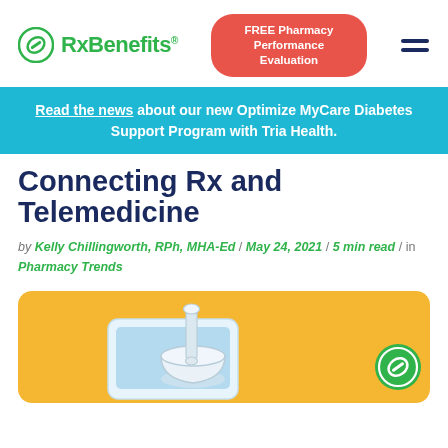RxBenefits logo, FREE Pharmacy Performance Evaluation button, hamburger menu
Read the news about our new Optimize MyCare Diabetes Support Program with Tria Health.
Connecting Rx and Telemedicine
by Kelly Chillingworth, RPh, MHA-Ed / May 24, 2021 / 5 min read / in Pharmacy Trends
[Figure (photo): Yellow/gold rounded card background with a mortar and pestle resting on a smartphone/tablet, plus an RxBenefits pill logo badge in the lower right corner.]